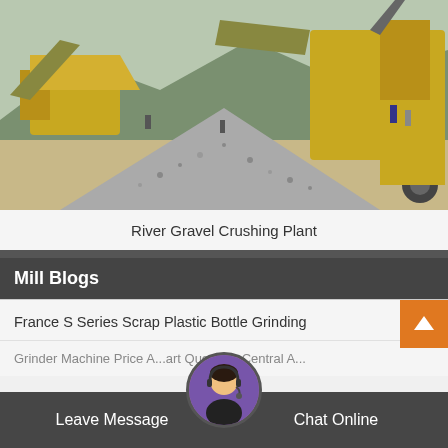[Figure (photo): River gravel crushing plant with yellow heavy machinery, conveyor belts, and a large pile of crushed gravel/stones in an outdoor quarry setting with mountains in background]
River Gravel Crushing Plant
Mill Blogs
France S Series Scrap Plastic Bottle Grinding
Grinder Machine Price A... art Queen In Central A...
Leave Message   Chat Online